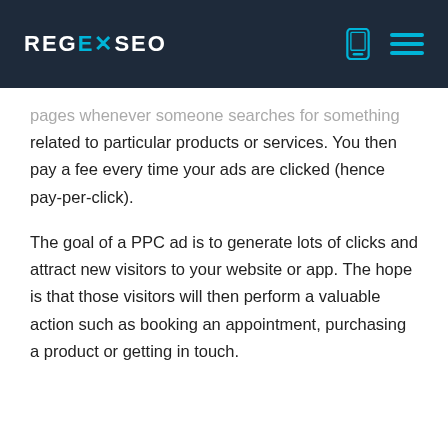REGEX/SEO
pages whenever someone searches for something related to particular products or services. You then pay a fee every time your ads are clicked (hence pay-per-click).
The goal of a PPC ad is to generate lots of clicks and attract new visitors to your website or app. The hope is that those visitors will then perform a valuable action such as booking an appointment, purchasing a product or getting in touch.